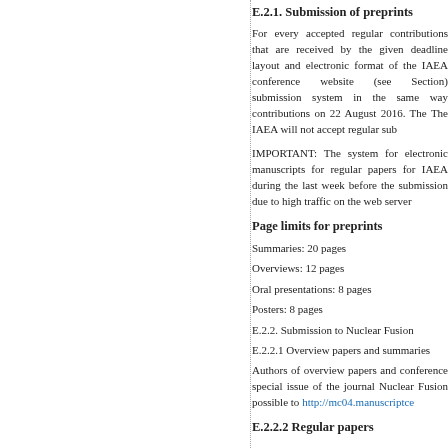E.2.1. Submission of preprints
For every accepted regular contributions that are received by the given deadline layout and electronic format of the IAEA conference website (see Section) submission system in the same way contributions on 22 August 2016. The IAEA will not accept regular sub
IMPORTANT: The system for electronic manuscripts for regular papers for IAEA during the last week before the submission due to high traffic on the web server
Page limits for preprints
Summaries: 20 pages
Overviews: 12 pages
Oral presentations: 8 pages
Posters: 8 pages
E.2.2. Submission to Nuclear Fusion
E.2.2.1 Overview papers and summaries
Authors of overview papers and conference special issue of the journal Nuclear Fusion possible to http://mc04.manuscriptcentral
E.2.2.2 Regular papers